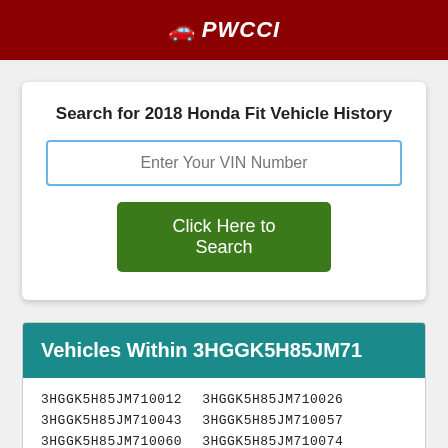🚗 PWCCI
Search for 2018 Honda Fit Vehicle History
Enter Your VIN Number
Click Here to Search
Vehicles Within 3HGGK5H85JM71
3HGGK5H85JM710012  3HGGK5H85JM710026
3HGGK5H85JM710043  3HGGK5H85JM710057
3HGGK5H85JM710060  3HGGK5H85JM710074
3HGGK5H85JM710080  3HGGK5H85JM710091